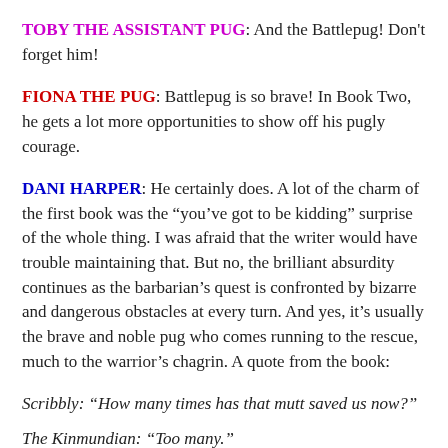TOBY THE ASSISTANT PUG: And the Battlepug! Don't forget him!
FIONA THE PUG: Battlepug is so brave! In Book Two, he gets a lot more opportunities to show off his pugly courage.
DANI HARPER: He certainly does. A lot of the charm of the first book was the “you’ve got to be kidding” surprise of the whole thing. I was afraid that the writer would have trouble maintaining that. But no, the brilliant absurdity continues as the barbarian’s quest is confronted by bizarre and dangerous obstacles at every turn. And yes, it’s usually the brave and noble pug who comes running to the rescue, much to the warrior’s chagrin. A quote from the book:
Scribbly: “How many times has that mutt saved us now?”
The Kinmundian: “Too many.”